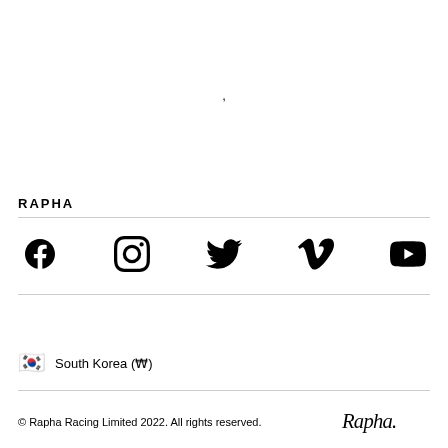,
RAPHA
[Figure (infographic): Social media icons: Facebook, Instagram, Twitter, Vimeo, YouTube]
South Korea (₩)
© Rapha Racing Limited 2022. All rights reserved.